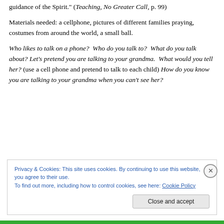guidance of the Spirit." (Teaching, No Greater Call, p. 99)
Materials needed: a cellphone, pictures of different families praying, costumes from around the world, a small ball.
Who likes to talk on a phone?  Who do you talk to?  What do you talk about? Let's pretend you are talking to your grandma.  What would you tell her? (use a cell phone and pretend to talk to each child) How do you know you are talking to your grandma when you can't see her?
Privacy & Cookies: This site uses cookies. By continuing to use this website, you agree to their use. To find out more, including how to control cookies, see here: Cookie Policy